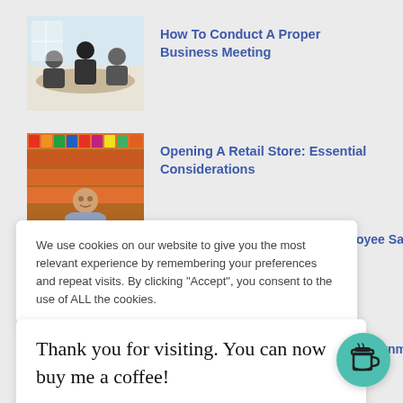[Figure (photo): Thumbnail photo of people in a business meeting around a table]
How To Conduct A Proper Business Meeting
[Figure (photo): Thumbnail photo of a man standing in a retail store with arms crossed]
Opening A Retail Store: Essential Considerations
nployee Safety In A...
We use cookies on our website to give you the most relevant experience by remembering your preferences and repeat visits. By clicking “Accept”, you consent to the use of ALL the cookies.
le Government ...
Thank you for visiting. You can now buy me a coffee!
[Figure (illustration): Green circular button with a coffee cup icon]